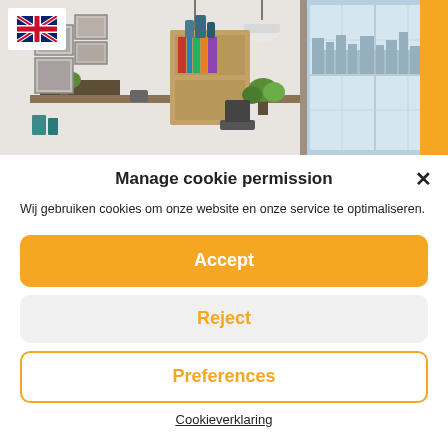[Figure (photo): Interior room photo showing a modern living/workspace with wall art, bookshelf, plants, hanging lamps, and a window with city view. Orange vertical bar on the right edge.]
Manage cookie permission
Wij gebruiken cookies om onze website en onze service te optimaliseren.
Accept
Reject
Preferences
Cookieverklaring